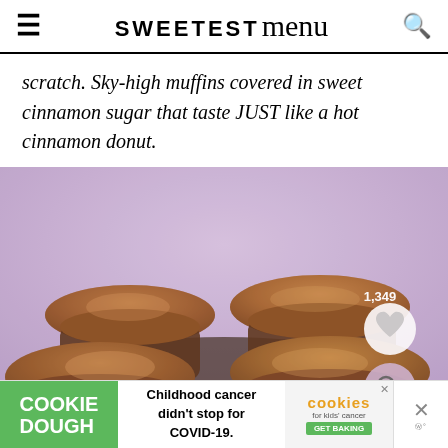≡  SWEETEST menu  🔍
scratch. Sky-high muffins covered in sweet cinnamon sugar that taste JUST like a hot cinnamon donut.
[Figure (photo): Close-up photo of golden-brown cinnamon sugar muffins on a dark tray with a soft purple/lavender background. A heart/save button shows 1,349 saves and a magnifying glass button are overlaid in the bottom right corner.]
COOKIE DOUGH  Childhood cancer didn't stop for COVID-19.  cookies for kids' cancer GET BAKING  ×